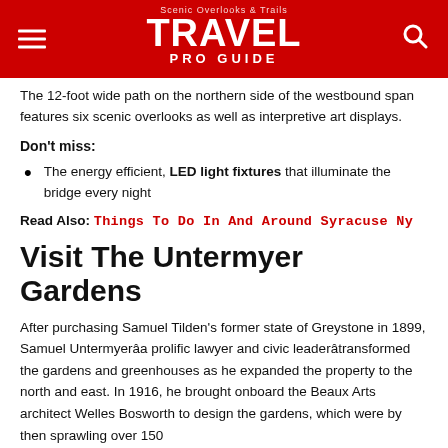TRAVEL PRO GUIDE
The 12-foot wide path on the northern side of the westbound span features six scenic overlooks as well as interpretive art displays.
Don't miss:
The energy efficient, LED light fixtures that illuminate the bridge every night
Read Also: Things To Do In And Around Syracuse Ny
Visit The Untermyer Gardens
After purchasing Samuel Tilden's former state of Greystone in 1899, Samuel Untermyerâa prolific lawyer and civic leaderâtransformed the gardens and greenhouses as he expanded the property to the north and east. In 1916, he brought onboard the Beaux Arts architect Welles Bosworth to design the gardens, which were by then sprawling over 150